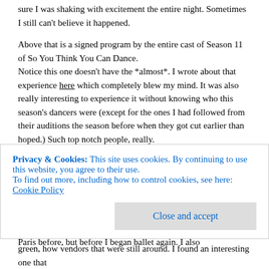sure I was shaking with excitement the entire night. Sometimes I still can't believe it happened.
Above that is a signed program by the entire cast of Season 11 of So You Think You Can Dance.
Notice this one doesn't have the *almost*. I wrote about that experience here which completely blew my mind. It was also really interesting to experience it without knowing who this season's dancers were (except for the ones I had followed from their auditions the season before when they got cut earlier than hoped.) Such top notch people, really.
Last but not least, the center piece.
This is Baby. She's from Paris. I don't think I wrote about her before, or maybe I did and just didn't tag it. Regardless, the story goes that once upon a time, I was in Paris last summer. (hehe) It was the middle section of an almost two week trip to Europe that also involved Amsterdam and London. I had been to Paris before, but before I began ballet again. I also
Privacy & Cookies: This site uses cookies. By continuing to use this website, you agree to their use.
To find out more, including how to control cookies, see here: Cookie Policy
Close and accept
green, how vendors that were still around. I found an interesting one that